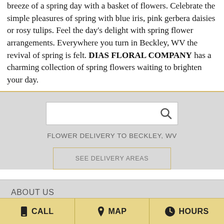breeze of a spring day with a basket of flowers. Celebrate the simple pleasures of spring with blue iris, pink gerbera daisies or rosy tulips. Feel the day's delight with spring flower arrangements. Everywhere you turn in Beckley, WV the revival of spring is felt. DIAS FLORAL COMPANY has a charming collection of spring flowers waiting to brighten your day.
[Figure (screenshot): Search input box with magnifying glass icon on gray background]
FLOWER DELIVERY TO BECKLEY, WV
SEE DELIVERY AREAS
ABOUT US
REVIEWS
CALL   MAP   HOURS